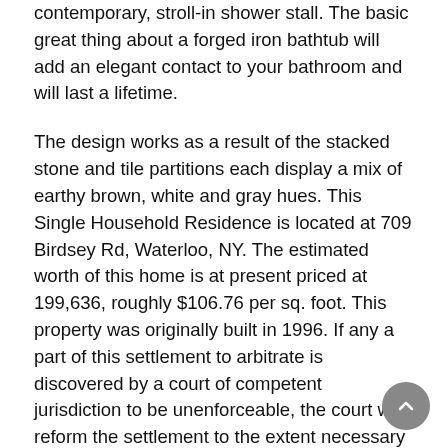contemporary, stroll-in shower stall. The basic great thing about a forged iron bathtub will add an elegant contact to your bathroom and will last a lifetime.
The design works as a result of the stacked stone and tile partitions each display a mix of earthy brown, white and gray hues. This Single Household Residence is located at 709 Birdsey Rd, Waterloo, NY. The estimated worth of this home is at present priced at 199,636, roughly $106.76 per sq. foot. This property was originally built in 1996. If any a part of this settlement to arbitrate is discovered by a court of competent jurisdiction to be unenforceable, the court will reform the settlement to the extent necessary to cure the unenforceable half(s), and the events will arbitrate their Dispute(s) regardless of or reliance upon the unenforceable part(s).
The up to date grasp lavatory realizes the total potential of the expansive area. A striking, weathered sofa desk serves as the base for this visitor toilet's double vanity. Bathrooms are notoriously tight on storage. Though